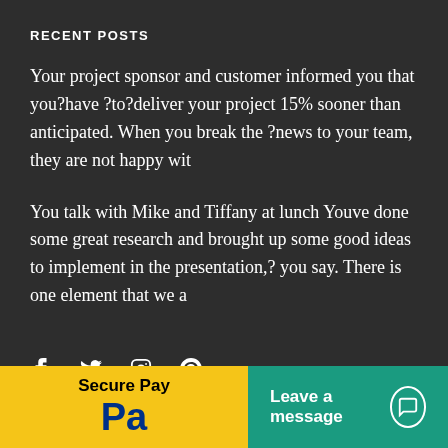RECENT POSTS
Your project sponsor and customer informed you that you?have ?to?deliver your project 15% sooner than anticipated. When you break the ?news to your team, they are not happy wit
You talk with Mike and Tiffany at lunch Youve done some great research and brought up some good ideas to implement in the presentation,? you say. There is one element that we a
[Figure (other): Social media icons: Facebook (f), Twitter (bird), Instagram (circle with camera), Pinterest (P)]
[Figure (other): Bottom bar with two sections: yellow PayPal 'Secure Pay' section on left with PayPal logo, and teal 'Leave a message' chat button on right with chat icon]